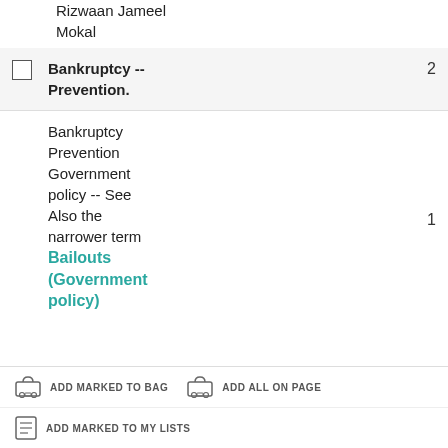Rizwaan Jameel
Mokal
|  | Subject | Count |
| --- | --- | --- |
| ☐ | Bankruptcy -- Prevention. | 2 |
|  | Bankruptcy Prevention Government policy -- See Also the narrower term Bailouts (Government policy) | 1 |
ADD MARKED TO BAG  ADD ALL ON PAGE  ADD MARKED TO MY LISTS